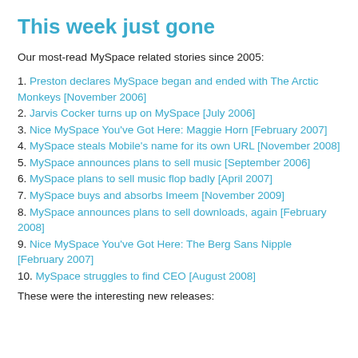This week just gone
Our most-read MySpace related stories since 2005:
1. Preston declares MySpace began and ended with The Arctic Monkeys [November 2006]
2. Jarvis Cocker turns up on MySpace [July 2006]
3. Nice MySpace You've Got Here: Maggie Horn [February 2007]
4. MySpace steals Mobile's name for its own URL [November 2008]
5. MySpace announces plans to sell music [September 2006]
6. MySpace plans to sell music flop badly [April 2007]
7. MySpace buys and absorbs Imeem [November 2009]
8. MySpace announces plans to sell downloads, again [February 2008]
9. Nice MySpace You've Got Here: The Berg Sans Nipple [February 2007]
10. MySpace struggles to find CEO [August 2008]
These were the interesting new releases: